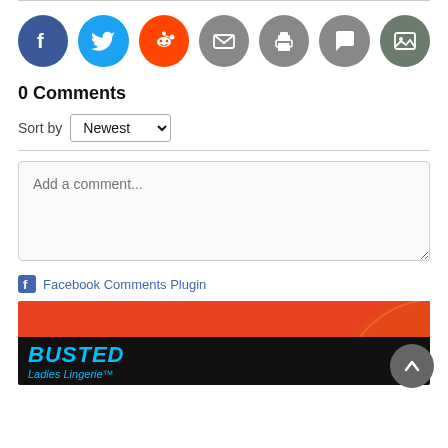[Figure (other): Social sharing icons row: Facebook (blue), Twitter (light blue), Reddit (orange), Email (gray), Print (gray), Comment (gray), Gallery (dark gray-green)]
0 Comments
Sort by Newest
Add a comment...
Facebook Comments Plugin
[Figure (photo): Advertisement banner: red/orange background with partial image of shoes, and Busted Ladies Lingerie logo on black background]